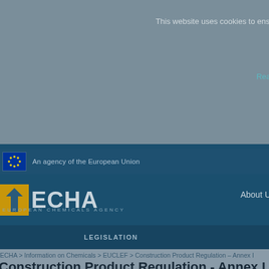This website uses cookies to ensure
Read
[Figure (logo): EU flag icon with stars on blue background]
An agency of the European Union
[Figure (logo): ECHA European Chemicals Agency logo with gold/yellow star icon and grey ECHA text]
EUROPEAN CHEMICALS AGENCY
About Us
LEGISLATION
CONSULTATIONS
ECHA > Information on Chemicals > EUCLEF > Construction Product Regulation - Annex I
Construction Product Regulation - Annex I (3) - Ha